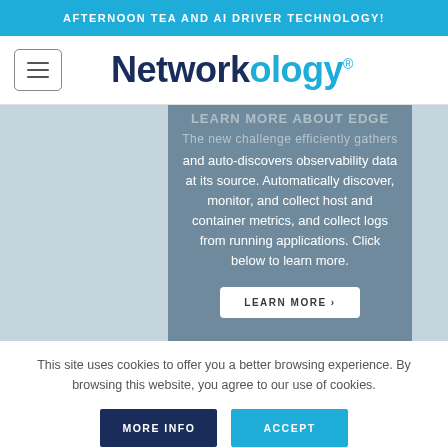AFTERNOON TEA AND AI DRIVER TECHNOLOGY!
[Figure (logo): Networkology registered trademark logo with hamburger menu icon on the left]
and auto-discovers observability data at its source. Automatically discover, monitor, and collect host and container metrics, and collect logs from running applications. Click below to learn more.
LEARN MORE >
This site uses cookies to offer you a better browsing experience. By browsing this website, you agree to our use of cookies.
MORE INFO
ACCEPT